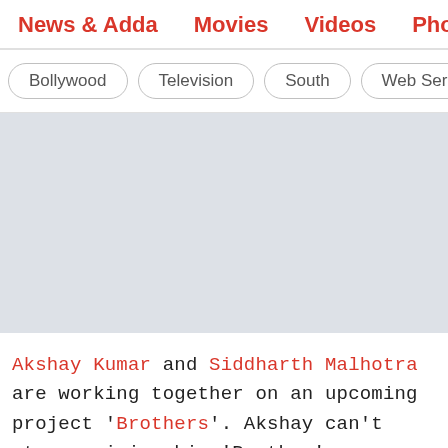News & Adda  Movies  Videos  Photos  Reviews  Box...
Bollywood  Television  South  Web Series  Inte...
[Figure (photo): Large image placeholder with light grey background, representing an article image]
Akshay Kumar and Siddharth Malhotra are working together on an upcoming project 'Brothers'. Akshay can't stop praising his 'Brother', Siddharth Malhotra.